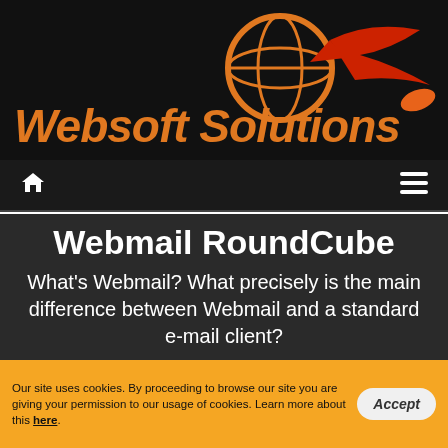[Figure (logo): Websoft Solutions logo with orange globe icon and red arrow on dark background, text reads 'Websoft Solutions' in orange/red gradient]
Home icon and hamburger menu icon navigation bar
Webmail RoundCube
What's Webmail? What precisely is the main difference between Webmail and a standard e-mail client?
Our site uses cookies. By proceeding to browse our site you are giving your permission to our usage of cookies. Learn more about this here.